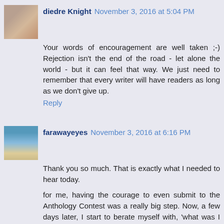[Figure (photo): Avatar photo of diedre Knight]
diedre Knight November 3, 2016 at 5:04 PM
Your words of encouragement are well taken ;-) Rejection isn't the end of the road - let alone the world - but it can feel that way. We just need to remember that every writer will have readers as long as we don't give up.
Reply
[Figure (photo): Avatar photo of farawayeyes showing a beach/island scene]
farawayeyes November 3, 2016 at 6:16 PM
Thank you so much. That is exactly what I needed to hear today.
for me, having the courage to even submit to the Anthology Contest was a really big step. Now, a few days later, I start to berate myself with, 'what was I thinking, I'm no where near as good as most of these people who will submit'. Yeah, I know that will get be absolutely nowhere.
Rejection is in fact a part of life and learning to handle it and move forward another great big step. I just need to be reminded...often.